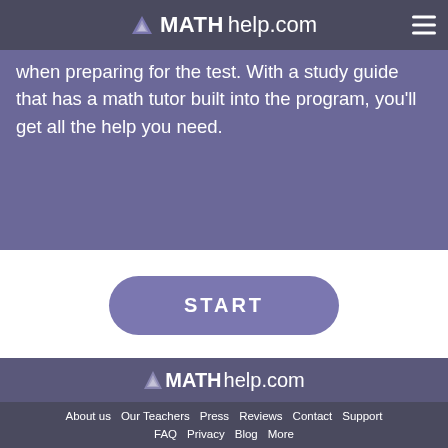MATHhelp.com
when preparing for the test. With a study guide that has a math tutor built into the program, you'll get all the help you need.
START
[Figure (logo): MATHhelp.com footer logo with triangle icon]
About us  Our Teachers  Press  Reviews  Contact  Support  FAQ  Privacy  Blog  More